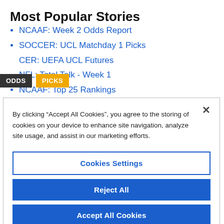Most Popular Stories
NCAAF: Week 2 Odds Report
SOCCER: UCL Matchday 1 Picks
CER: UEFA UCL Futures
NFL: Total Talk - Week 1
NCAAF: Top 25 Rankings
[Figure (screenshot): Cookie consent modal dialog with three buttons: Cookies Settings, Reject All, Accept All Cookies]
By clicking “Accept All Cookies”, you agree to the storing of cookies on your device to enhance site navigation, analyze site usage, and assist in our marketing efforts.